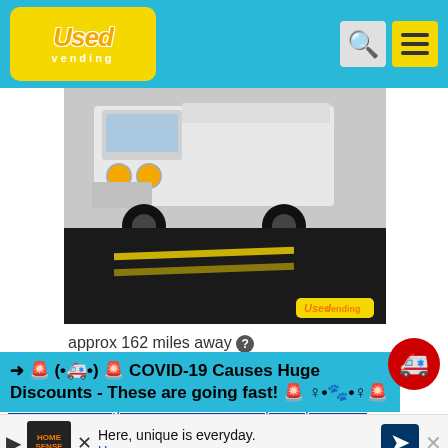Used Vending
[Figure (photo): Photo of a white 2002 Freightliner MT45 diesel step van truck parked on pavement, viewed from front/side angle, with black ground mat visible]
approx 162 miles away ℹ
$21,280
Used - 2002 Freightliner MT45 Diesel Step Van | Truck for Mobile Business for Sale in California!
Item No: CA-SV-151V2
➜ 🚨 (•🚑•) 🚨 COVID-19 Causes Huge Discounts - These are going fast! 🚨 ♀•🐾•♀🚨
Here is a diesel-powered high roof 2002 Freightliner MT45 step van that has been converted to your mo... in Califo...
[Figure (illustration): Home Sense advertisement banner with logo, play button, close button, and navigation arrow]